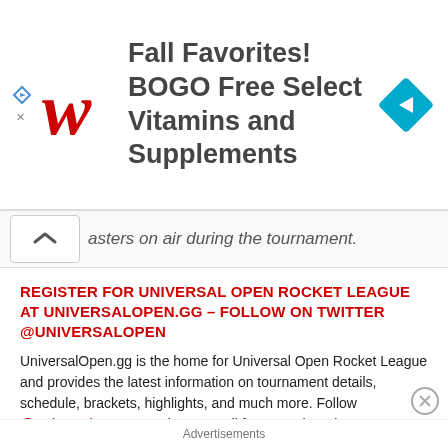[Figure (logo): Walgreens advertisement banner: Fall Favorites! BOGO Free Select Vitamins and Supplements, with Walgreens logo and navigation arrow diamond icon]
…asters on air during the tournament.
REGISTER FOR UNIVERSAL OPEN ROCKET LEAGUE AT UNIVERSALOPEN.GG – FOLLOW ON TWITTER @UNIVERSALOPEN
UniversalOpen.gg is the home for Universal Open Rocket League and provides the latest information on tournament details, schedule, brackets, highlights, and much more. Follow @UniversalOpen on Twitter as well for up-to-the-minute information on everything Universal Open Rocket League.
Advertisements